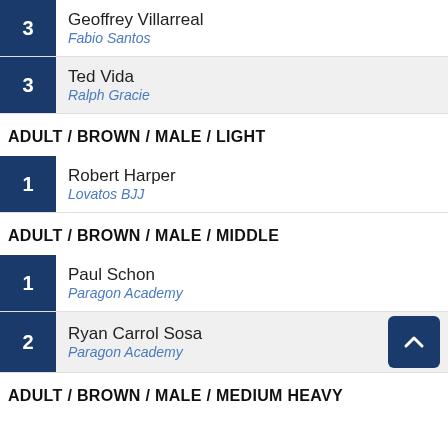3 Geoffrey Villarreal / Fabio Santos
3 Ted Vida / Ralph Gracie
ADULT / BROWN / MALE / LIGHT
1 Robert Harper / Lovatos BJJ
ADULT / BROWN / MALE / MIDDLE
1 Paul Schon / Paragon Academy
2 Ryan Carrol Sosa / Paragon Academy
ADULT / BROWN / MALE / MEDIUM HEAVY